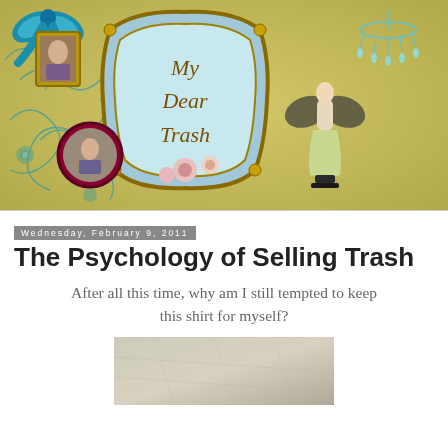[Figure (illustration): Decorative blog header banner reading 'My Dear Trash' with vintage/baroque style elements including a teal bow, gold ornate frame around the blog name in cursive script, a Marie Antoinette-style portrait in a gold frame, a circular portrait, floral decorations, a fairy/angel figurine, and a teal chandelier, all on a distressed olive/yellow-green background.]
Wednesday, February 9, 2011
The Psychology of Selling Trash
After all this time, why am I still tempted to keep this shirt for myself?
[Figure (photo): Partial photo of a floor or surface with a neutral gray/beige tone, slightly textured, taken from an angle.]